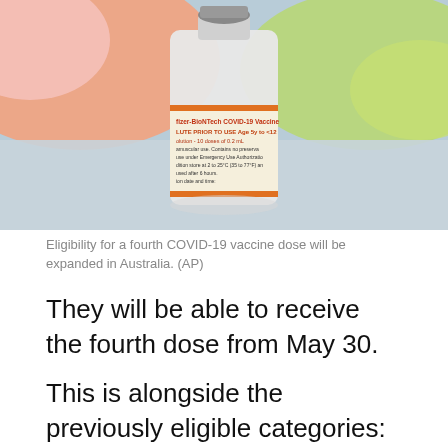[Figure (photo): A vial of Pfizer-BioNTech COVID-19 Vaccine, with orange and green blurred items in the background.]
Eligibility for a fourth COVID-19 vaccine dose will be expanded in Australia. (AP)
They will be able to receive the fourth dose from May 30.
This is alongside the previously eligible categories: people aged 65 and over, residents of aged care homes, people who are severely immunocompromised, and Indigenous people aged over 50.